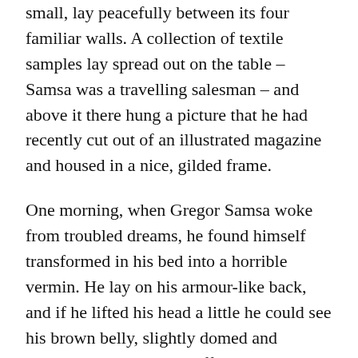small, lay peacefully between its four familiar walls. A collection of textile samples lay spread out on the table – Samsa was a travelling salesman – and above it there hung a picture that he had recently cut out of an illustrated magazine and housed in a nice, gilded frame.
One morning, when Gregor Samsa woke from troubled dreams, he found himself transformed in his bed into a horrible vermin. He lay on his armour-like back, and if he lifted his head a little he could see his brown belly, slightly domed and divided by arches into stiff sections. The bedding was hardly able to cover it and seemed ready to slide off any moment. His many legs, pitifully thin compared with the size of the rest of him, waved about helplessly as he looked. “What’s happened to me? ” he thought. It wasn’t a dream.
Outrageous conditions require more